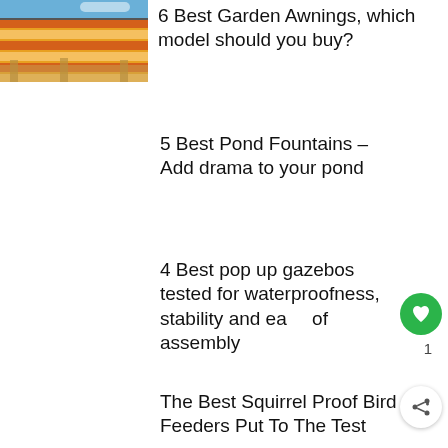[Figure (photo): Photo of orange and white striped garden awning mounted on a structure, seen from below against blue sky]
6 Best Garden Awnings, which model should you buy?
5 Best Pond Fountains – Add drama to your pond
4 Best pop up gazebos tested for waterproofness, stability and ease of assembly
The Best Squirrel Proof Bird Feeders Put To The Test